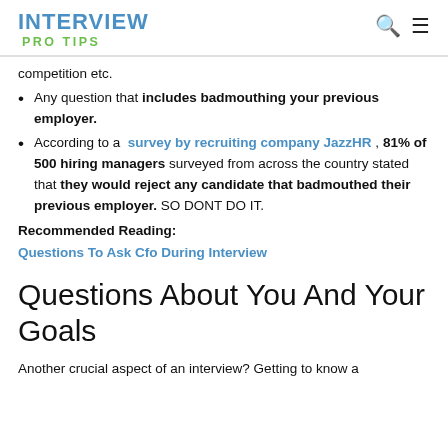INTERVIEW
PRO TIPS
competition etc.
Any question that includes badmouthing your previous employer.
According to a survey by recruiting company JazzHR , 81% of 500 hiring managers surveyed from across the country stated that they would reject any candidate that badmouthed their previous employer. SO DONT DO IT.
Recommended Reading:
Questions To Ask Cfo During Interview
Questions About You And Your Goals
Another crucial aspect of an interview? Getting to know a